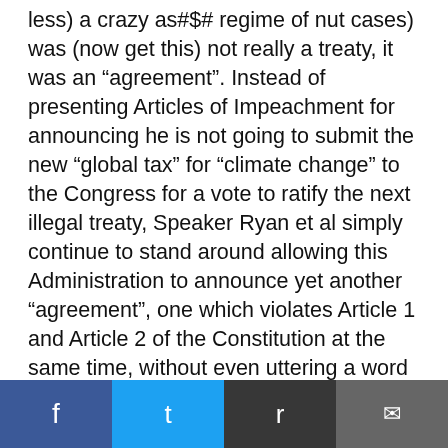less) a crazy as#$# regime of nut cases) was (now get this) not really a treaty, it was an “agreement”. Instead of presenting Articles of Impeachment for announcing he is not going to submit the new “global tax” for “climate change” to the Congress for a vote to ratify the next illegal treaty, Speaker Ryan et al simply continue to stand around allowing this Administration to announce yet another “agreement”, one which violates Article 1 and Article 2 of the Constitution at the same time, without even uttering a word of protest, all justified by the need to “…go along to get things done.” I intend to not only vote against, but to financially support and volunteer for, anyone running in the primary who is NOT a current Senator or House [member]. I’m fed up with the [current members of] the Repub[lican...]
[Figure (other): Social media share bar with Facebook, Twitter, Reddit, and Email buttons]